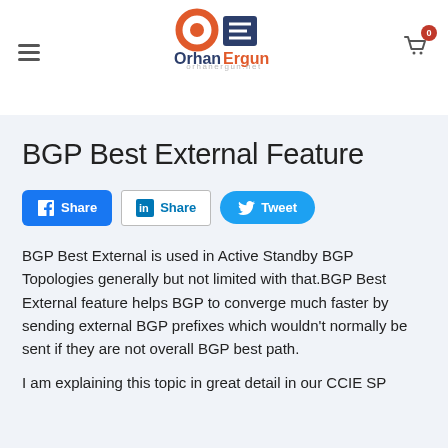OrhanErgun - orhanergun.net
BGP Best External Feature
[Figure (other): Social sharing buttons: Facebook Share, LinkedIn Share, Twitter Tweet]
BGP Best External is used in Active Standby BGP Topologies generally but not limited with that.BGP Best External feature helps BGP to converge much faster by sending external BGP prefixes which wouldn't normally be sent if they are not overall BGP best path.
I am explaining this topic in great detail in our CCIE SP